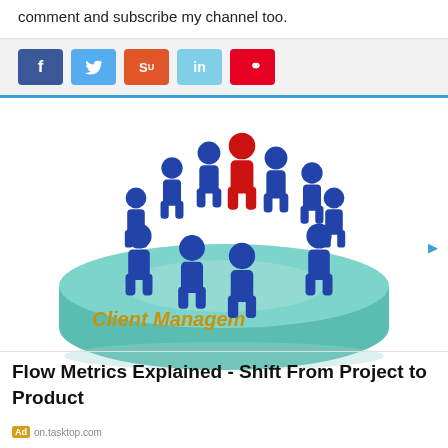comment and subscribe my channel too.
[Figure (illustration): Social media share buttons: Facebook (blue), Twitter (light blue), StumbleUpon (orange-red), LinkedIn (light blue), Pinterest (red)]
[Figure (illustration): 3D illustration of a teal disc/platform labeled 'Client Management' with blue and one red human figure icons arranged in a circle, representing client management concept]
Flow Metrics Explained - Shift From Project to Product
Ad on.tasktop.com